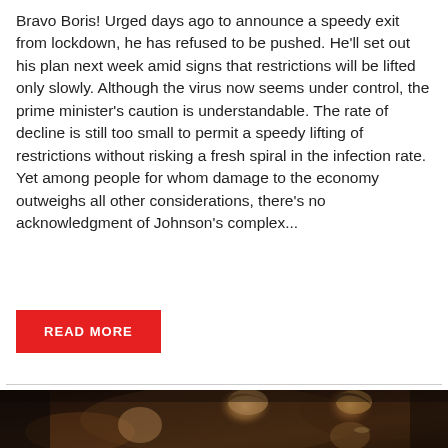Bravo Boris! Urged days ago to announce a speedy exit from lockdown, he has refused to be pushed. He'll set out his plan next week amid signs that restrictions will be lifted only slowly. Although the virus now seems under control, the prime minister's caution is understandable. The rate of decline is still too small to permit a speedy lifting of restrictions without risking a fresh spiral in the infection rate. Yet among people for whom damage to the economy outweighs all other considerations, there's no acknowledgment of Johnson's complex...
READ MORE
[Figure (photo): Classical painting showing multiple figures in dramatic lighting — women with elaborate hair and period dress in a darkly lit scene. Tags 'Britain' and 'Coronavirus' overlaid in red at top-left.]